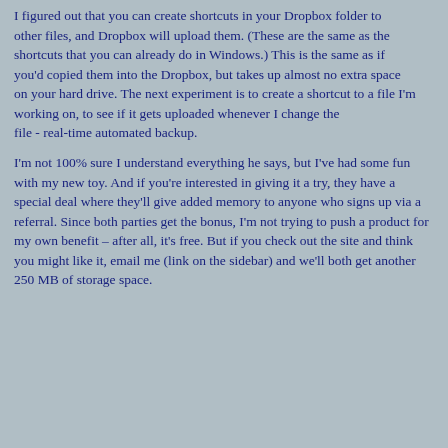I figured out that you can create shortcuts in your Dropbox folder to other files, and Dropbox will upload them. (These are the same as the shortcuts that you can already do in Windows.) This is the same as if you'd copied them into the Dropbox, but takes up almost no extra space on your hard drive. The next experiment is to create a shortcut to a file I'm working on, to see if it gets uploaded whenever I change the file - real-time automated backup.
I'm not 100% sure I understand everything he says, but I've had some fun with my new toy. And if you're interested in giving it a try, they have a special deal where they'll give added memory to anyone who signs up via a referral. Since both parties get the bonus, I'm not trying to push a product for my own benefit – after all, it's free. But if you check out the site and think you might like it, email me (link on the sidebar) and we'll both get another 250 MB of storage space.